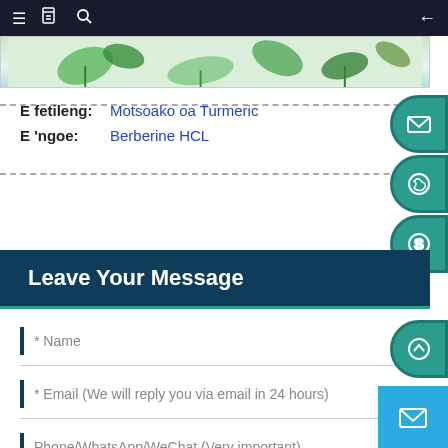Navigation bar with menu, document, search icons and back arrow
[Figure (illustration): Green leaf/plant decorative banner image]
E fetileng: Motsoako oa Turmeric
E 'ngoe: Berberine HCL
Leave Your Message
* Name
* Email (We will reply you via email in 24 hours)
Phone/WhatsApp/WeChat (Very important)